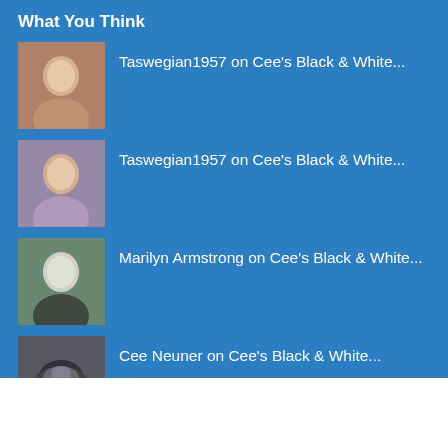What You Think
Taswegian1957 on Cee's Black & White...
Taswegian1957 on Cee's Black & White...
Marilyn Armstrong on Cee's Black & White...
Cee Neuner on Cee's Black & White...
Maggie on Throwback Thursday #52